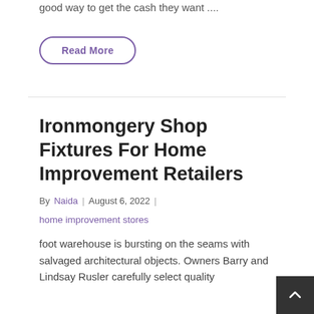good way to get the cash they want ....
Read More
Ironmongery Shop Fixtures For Home Improvement Retailers
By Naida | August 6, 2022 |
home improvement stores
foot warehouse is bursting on the seams with salvaged architectural objects. Owners Barry and Lindsay Rusler carefully select quality